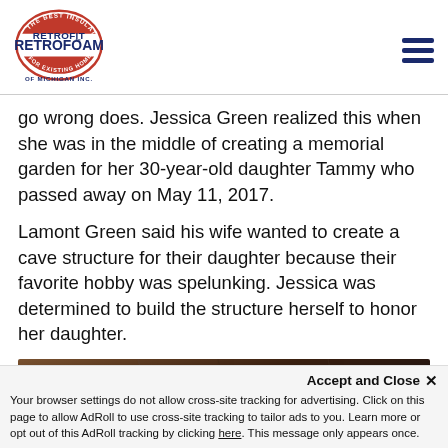[Figure (logo): RetroFoam of Michigan Inc. logo — red and blue oval badge with text]
go wrong does. Jessica Green realized this when she was in the middle of creating a memorial garden for her 30-year-old daughter Tammy who passed away on May 11, 2017.
Lamont Green said his wife wanted to create a cave structure for their daughter because their favorite hobby was spelunking. Jessica was determined to build the structure herself to honor her daughter.
[Figure (photo): Dark close-up photograph showing brown/black textured surface, possibly cave or foam material]
Accept and Close ✕
Your browser settings do not allow cross-site tracking for advertising. Click on this page to allow AdRoll to use cross-site tracking to tailor ads to you. Learn more or opt out of this AdRoll tracking by clicking here. This message only appears once.